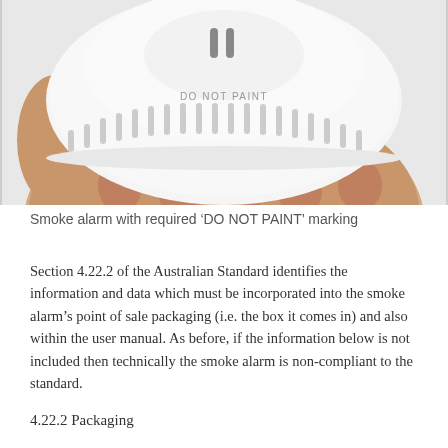[Figure (photo): A hand holding a white circular smoke alarm detector from below. The top of the device reads 'DO NOT PAINT' and has ventilation slots around the perimeter.]
Smoke alarm with required ‘DO NOT PAINT’ marking
Section 4.22.2 of the Australian Standard identifies the information and data which must be incorporated into the smoke alarm’s point of sale packaging (i.e. the box it comes in) and also within the user manual. As before, if the information below is not included then technically the smoke alarm is non-compliant to the standard.
4.22.2 Packaging
The point of sale packaging shall be marked with the